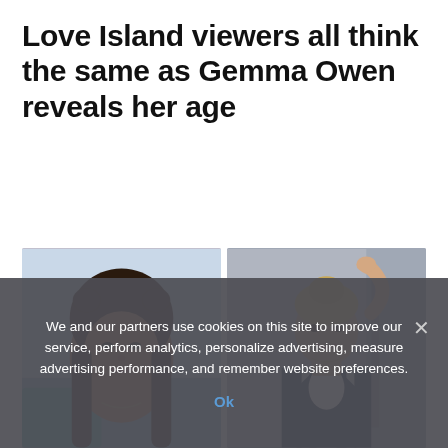Love Island viewers all think the same as Gemma Owen reveals her age
[Figure (photo): Two side-by-side photos: left shows a young brunette woman on Love Island set with beach background; right shows a blonde woman in navy/white striped outfit posing with hand raised]
We and our partners use cookies on this site to improve our service, perform analytics, personalize advertising, measure advertising performance, and remember website preferences.
Ok